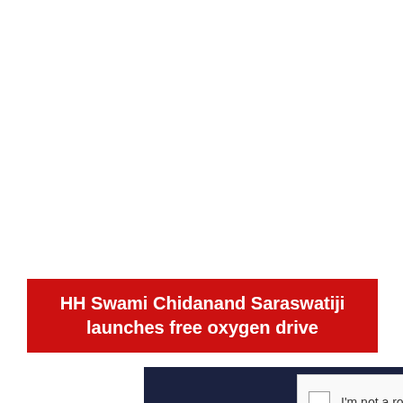HH Swami Chidanand Saraswatiji launches free oxygen drive
[Figure (screenshot): Dark navy blue panel at bottom of the image, partially showing a CAPTCHA widget with a checkbox and 'I'm not a robot' text]